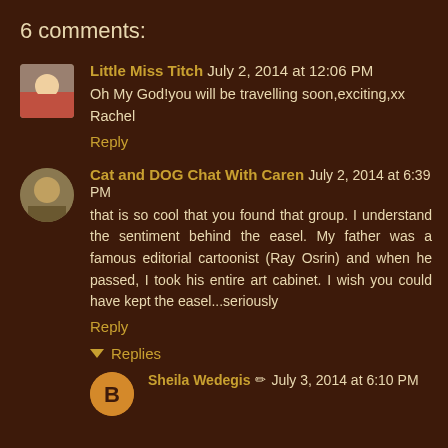6 comments:
Little Miss Titch  July 2, 2014 at 12:06 PM
Oh My God!you will be travelling soon,exciting,xx Rachel
Reply
Cat and DOG Chat With Caren  July 2, 2014 at 6:39 PM
that is so cool that you found that group. I understand the sentiment behind the easel. My father was a famous editorial cartoonist (Ray Osrin) and when he passed, I took his entire art cabinet. I wish you could have kept the easel...seriously
Reply
Replies
Sheila Wedegis  July 3, 2014 at 6:10 PM